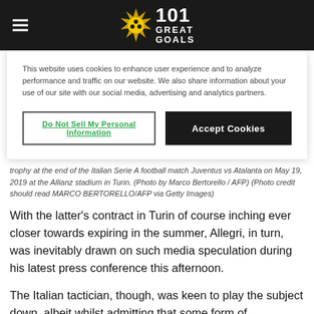101 Great Goals
This website uses cookies to enhance user experience and to analyze performance and traffic on our website. We also share information about your use of our site with our social media, advertising and analytics partners.
Do Not Sell My Personal Information | Accept Cookies
trophy at the end of the Italian Serie A football match Juventus vs Atalanta on May 19, 2019 at the Allianz stadium in Turin. (Photo by Marco Bertorello / AFP) (Photo credit should read MARCO BERTORELLO/AFP via Getty Images)
With the latter's contract in Turin of course inching ever closer towards expiring in the summer, Allegri, in turn, was inevitably drawn on such media speculation during his latest press conference this afternoon.
The Italian tactician, though, was keen to play the subject down, albeit whilst admitting that some form of discussion did